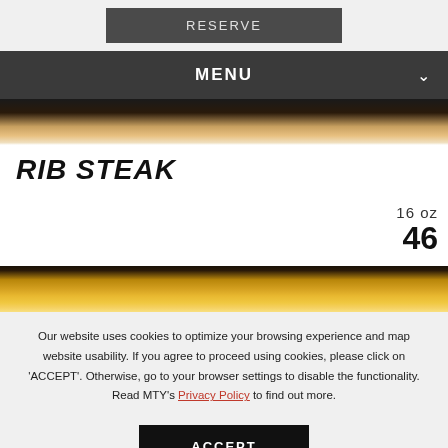RESERVE
MENU
[Figure (photo): Top portion of a rib steak on a white plate against dark background]
RIB STEAK
16 oz
46
[Figure (photo): French fries on a white plate against dark background]
Our website uses cookies to optimize your browsing experience and map website usability. If you agree to proceed using cookies, please click on 'ACCEPT'. Otherwise, go to your browser settings to disable the functionality. Read MTY's Privacy Policy to find out more.
ACCEPT